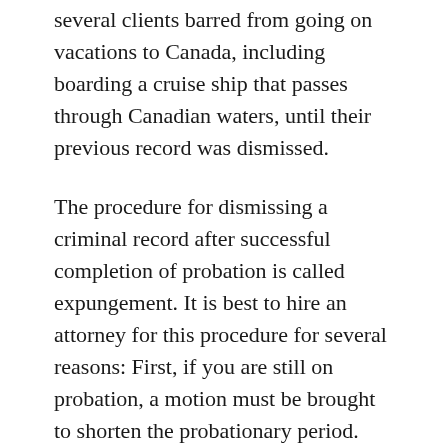several clients barred from going on vacations to Canada, including boarding a cruise ship that passes through Canadian waters, until their previous record was dismissed.
The procedure for dismissing a criminal record after successful completion of probation is called expungement. It is best to hire an attorney for this procedure for several reasons: First, if you are still on probation, a motion must be brought to shorten the probationary period. Second, certain crimes do not qualify for this relief. Finally, the government often opposes the petition.
After the petition for expungement has been granted, the charges are dismissed and the individual does not have to tell future employers of the previous criminal conviction. The previous conviction still has to be disclosed for most government employment and forms, though the effect of the dismissed conviction is